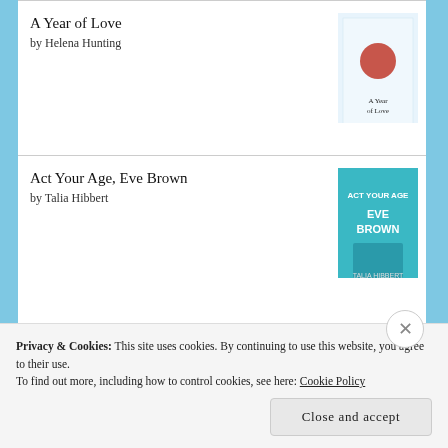A Year of Love by Helena Hunting
Act Your Age, Eve Brown by Talia Hibbert
Inked with a Kiss by Jennie Davids
LIFEL1K3 by Jay Kristoff
Privacy & Cookies: This site uses cookies. By continuing to use this website, you agree to their use.
To find out more, including how to control cookies, see here: Cookie Policy
Close and accept